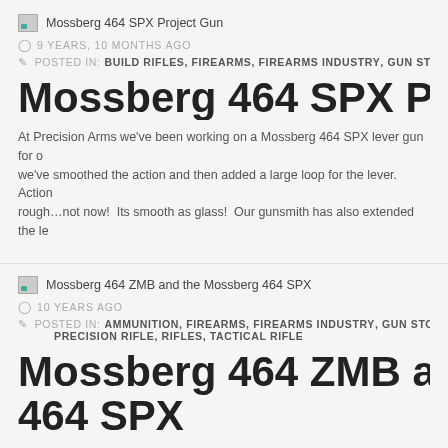[Figure (photo): Thumbnail image for Mossberg 464 SPX Project Gun post]
Mossberg 464 SPX Project Gun
9 YEARS, 10 MONTHS AGO
POSTED IN: BUILD RIFLES, FIREARMS, FIREARMS INDUSTRY, GUN STORE,
Mossberg 464 SPX Project G
At Precision Arms we've been working on a Mossberg 464 SPX lever gun for o... we've smoothed the action and then added a large loop for the lever. Action ... rough…not now! Its smooth as glass! Our gunsmith has also extended the le...
[Figure (photo): Thumbnail image for Mossberg 464 ZMB and the Mossberg 464 SPX post]
Mossberg 464 ZMB and the Mossberg 464 SPX
10 YEARS AGO
POSTED IN: AMMUNITION, FIREARMS, FIREARMS INDUSTRY, GUN STORE, PRECISION RIFLE, RIFLES, TACTICAL RIFLE
Mossberg 464 ZMB and the 464 SPX